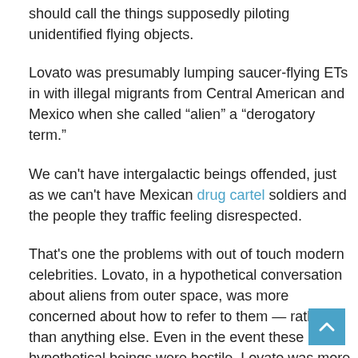should call the things supposedly piloting unidentified flying objects.
Lovato was presumably lumping saucer-flying ETs in with illegal migrants from Central American and Mexico when she called “alien” a “derogatory term.”
We can’t have intergalactic beings offended, just as we can’t have Mexican drug cartel soldiers and the people they traffic feeling disrespected.
That’s one the problems with out of touch modern celebrities. Lovato, in a hypothetical conversation about aliens from outer space, was more concerned about how to refer to them — rather than anything else. Even in the event these hypothetical beings were hostile, Lovato was more worried about not offending them than expressing a sentiment for self-